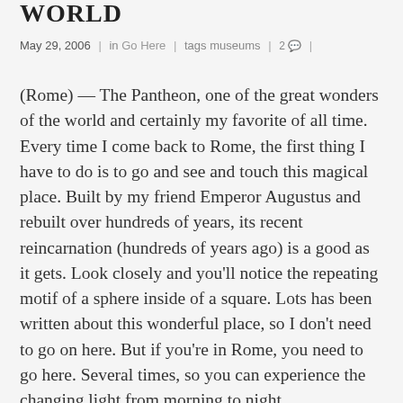WORLD
May 29, 2006 | in Go Here | tags museums | 2 |
(Rome) — The Pantheon, one of the great wonders of the world and certainly my favorite of all time. Every time I come back to Rome, the first thing I have to do is to go and see and touch this magical place. Built by my friend Emperor Augustus and rebuilt over hundreds of years, its recent reincarnation (hundreds of years ago) is a good as it gets. Look closely and you'll notice the repeating motif of a sphere inside of a square. Lots has been written about this wonderful place, so I don't need to go on here. But if you're in Rome, you need to go here. Several times, so you can experience the changing light from morning to night.